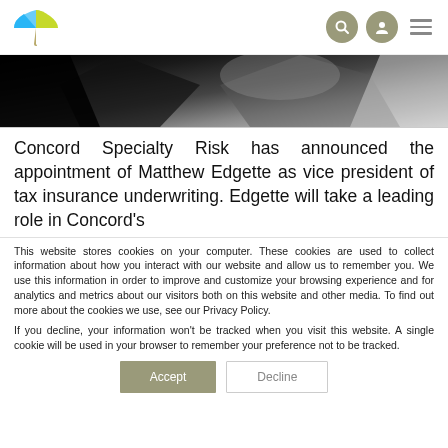[Figure (logo): Policy Store logo with umbrella icon and text POLICY STORE]
[Figure (photo): Dark hero image, close-up photo with black, grey and white tones, possibly showing papers or hands]
Concord Specialty Risk has announced the appointment of Matthew Edgette as vice president of tax insurance underwriting. Edgette will take a leading role in Concord's
This website stores cookies on your computer. These cookies are used to collect information about how you interact with our website and allow us to remember you. We use this information in order to improve and customize your browsing experience and for analytics and metrics about our visitors both on this website and other media. To find out more about the cookies we use, see our Privacy Policy.
If you decline, your information won't be tracked when you visit this website. A single cookie will be used in your browser to remember your preference not to be tracked.